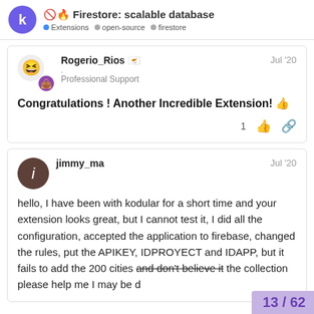Firestore: scalable database | Extensions · open-source · firestore
Rogerio_Rios 🇨🇾
Professional Support
Jul '20
Congratulations ! Another Incredible Extension! 👍
1
jimmy_ma
Jul '20
hello, I have been with kodular for a short time and your extension looks great, but I cannot test it, I did all the configuration, accepted the application to firebase, changed the rules, put the APIKEY, IDPROYECT and IDAPP, but it fails to add the 200 cities and don't believe it the collection please help me I may be d
13 / 62